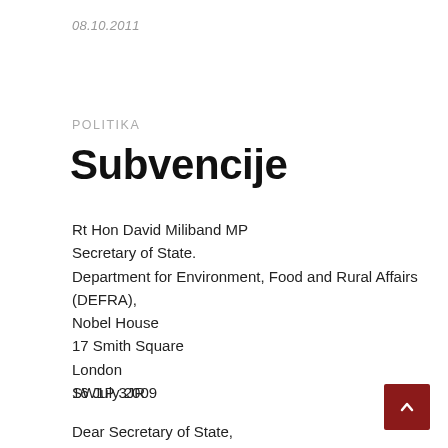08.10.2011
POLITIKA
Subvencije
Rt Hon David Miliband MP
Secretary of State.
Department for Environment, Food and Rural Affairs (DEFRA),
Nobel House
17 Smith Square
London
SW1P 3JR
16 July 2009
Dear Secretary of State,